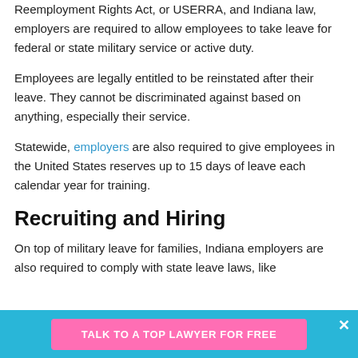Reemployment Rights Act, or USERRA, and Indiana law, employers are required to allow employees to take leave for federal or state military service or active duty.
Employees are legally entitled to be reinstated after their leave. They cannot be discriminated against based on anything, especially their service.
Statewide, employers are also required to give employees in the United States reserves up to 15 days of leave each calendar year for training.
Recruiting and Hiring
On top of military leave for families, Indiana employers are also required to comply with state leave laws, like
TALK TO A TOP LAWYER FOR FREE